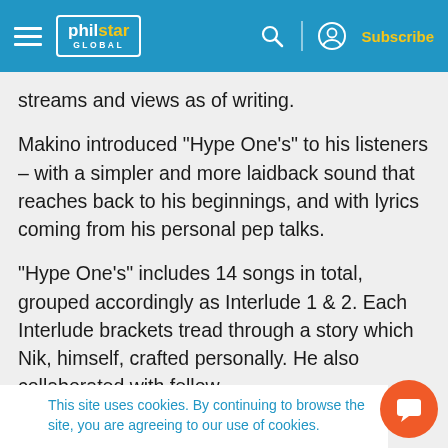philstar GLOBAL — Subscribe
streams and views as of writing.
Makino introduced "Hype One's" to his listeners – with a simpler and more laidback sound that reaches back to his beginnings, and with lyrics coming from his personal pep talks.
"Hype One's" includes 14 songs in total, grouped accordingly as Interlude 1 & 2. Each Interlude brackets tread through a story which Nik, himself, crafted personally. He also collaborated with fellow
This site uses cookies. By continuing to browse the site, you are agreeing to our use of cookies.